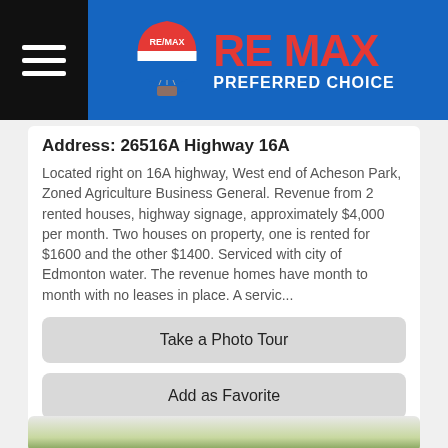RE MAX PREFERRED CHOICE
Address:  26516A Highway 16A
Located right on 16A highway, West end of Acheson Park, Zoned Agriculture Business General. Revenue from 2 rented houses, highway signage, approximately $4,000 per month. Two houses on property, one is rented for $1600 and the other $1400. Serviced with city of Edmonton water. The revenue homes have month to month with no leases in place. A servic...
Take a Photo Tour
Add as Favorite
Contact Wally Hawryluk
View Details
[Figure (photo): Partial view of a property with trees in the background, partially visible at the bottom of the page]